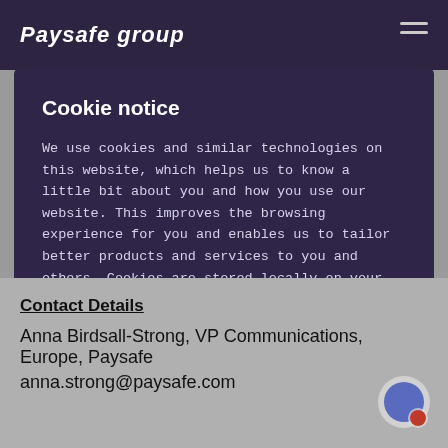Paysafe group
Cookie notice
We use cookies and similar technologies on this website, which helps us to know a little bit about you and how you use our website. This improves the browsing experience for you and enables us to tailor better products and services to you and others. Cookies are stored locally on your computer or mobile device. You can Accept or Reject all cookies, or customize your choices using "Cookie settings".
Reject All
Accept All Cookies
Cookies Settings
Contact Details
Anna Birdsall-Strong, VP Communications, Europe, Paysafe
anna.strong@paysafe.com